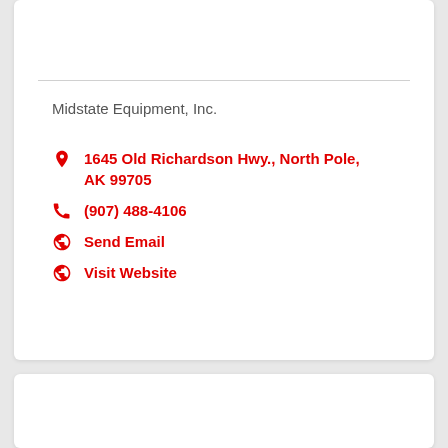Midstate Equipment, Inc.
1645 Old Richardson Hwy., North Pole, AK 99705
(907) 488-4106
Send Email
Visit Website
Minn-Alaska